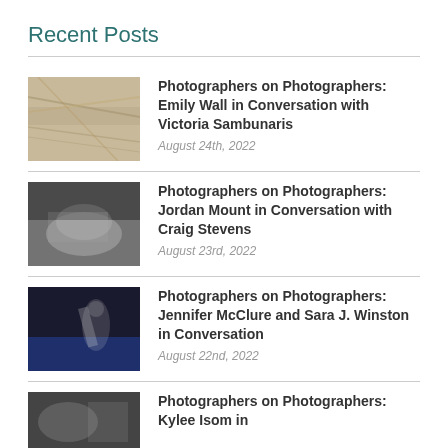Recent Posts
Photographers on Photographers: Emily Wall in Conversation with Victoria Sambunaris
August 24th, 2022
Photographers on Photographers: Jordan Mount in Conversation with Craig Stevens
August 23rd, 2022
Photographers on Photographers: Jennifer McClure and Sara J. Winston in Conversation
August 22nd, 2022
Photographers on Photographers: Kylee Isom in